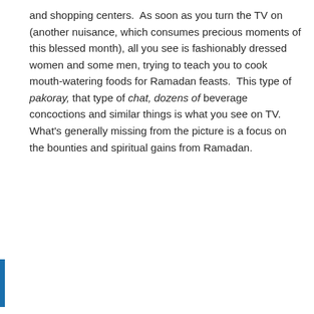and shopping centers.  As soon as you turn the TV on (another nuisance, which consumes precious moments of this blessed month), all you see is fashionably dressed women and some men, trying to teach you to cook mouth-watering foods for Ramadan feasts.  This type of pakoray, that type of chat, dozens of beverage concoctions and similar things is what you see on TV.   What's generally missing from the picture is a focus on the bounties and spiritual gains from Ramadan.